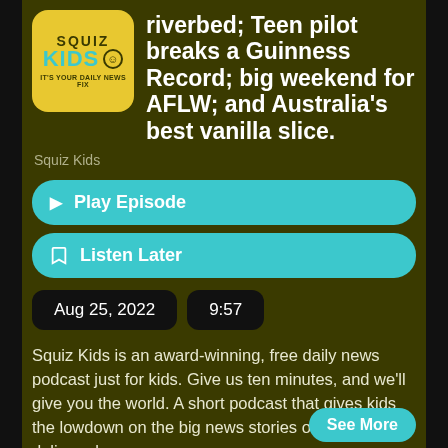[Figure (logo): Squiz Kids podcast logo - yellow/gold rounded square with 'SQUIZ KIDS' text and smiley face, tagline 'IT'S YOUR DAILY NEWS FIX']
riverbed; Teen pilot breaks a Guinness Record; big weekend for AFLW; and Australia's best vanilla slice.
Squiz Kids
▶ Play Episode
☐ Listen Later
Aug 25, 2022
9:57
Squiz Kids is an award-winning, free daily news podcast just for kids. Give us ten minutes, and we'll give you the world. A short podcast that gives kids the lowdown on the big news stories of the day, delivered
See More